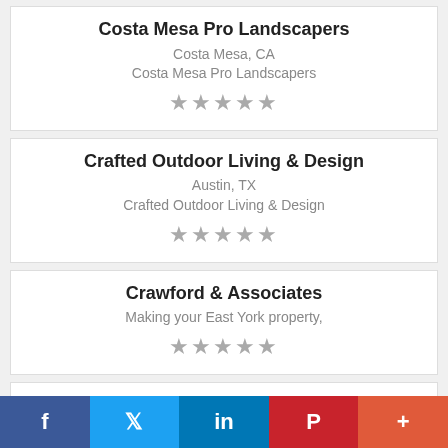Costa Mesa Pro Landscapers
Costa Mesa, CA
Costa Mesa Pro Landscapers
★★★★★
Crafted Outdoor Living & Design
Austin, TX
Crafted Outdoor Living & Design
★★★★★
Crawford & Associates
Making your East York property,
★★★★★
Crystal Landscape Supplies
f  🐦  in  P  +